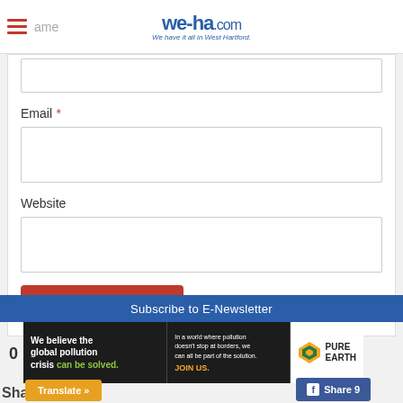we-ha.com — We have it all in West Hartford.
Email *
Website
Post Comment
Subscribe to E-Newsletter
[Figure (advertisement): Pure Earth advertisement: 'We believe the global pollution crisis can be solved. In a world where pollution doesn't stop at borders, we can all be part of the solution. JOIN US.' with Pure Earth logo.]
0
Translate »
Share
Share 9